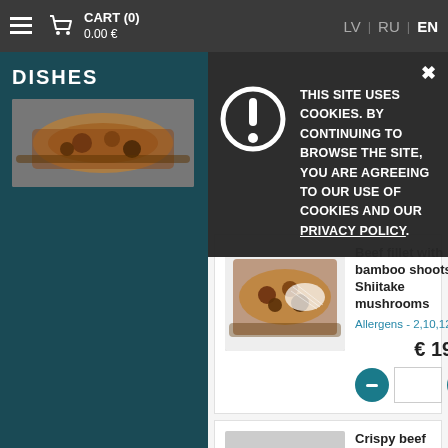CART (0) 0.00 € | LV | RU | EN
DISHES
THIS SITE USES COOKIES. BY CONTINUING TO BROWSE THE SITE, YOU ARE AGREEING TO OUR USE OF COOKIES AND OUR PRIVACY POLICY.
Beef fillet with bamboo shoots and Shiitake mushrooms
Allergens - 2,10,12,13
€ 19.50
Crispy beef with sweet thai chili sauce
Allergens - 2,10,12,13